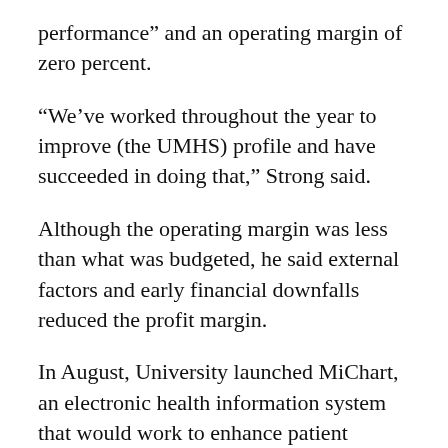performance” and an operating margin of zero percent.
“We’ve worked throughout the year to improve (the UMHS) profile and have succeeded in doing that,” Strong said.
Although the operating margin was less than what was budgeted, he said external factors and early financial downfalls reduced the profit margin.
In August, University launched MiChart, an electronic health information system that would work to enhance patient documentation.